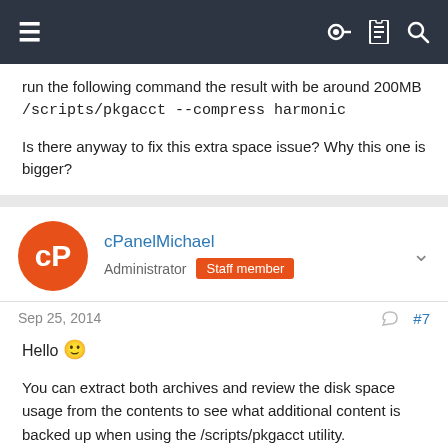Navigation bar with menu, key, document, and search icons
run the following command the result with be around 200MB
/scripts/pkgacct --compress harmonic

Is there anyway to fix this extra space issue? Why this one is bigger?
cPanelMichael
Administrator  Staff member
Sep 25, 2014  #7
Hello 🙂

You can extract both archives and review the disk space usage from the contents to see what additional content is backed up when using the /scripts/pkgacct utility.

Thank you.